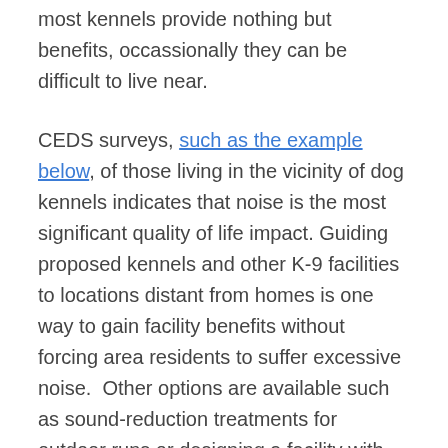Dog kennels offer a vitally important service. While most kennels provide nothing but benefits, occassionally they can be difficult to live near.
CEDS surveys, such as the example below, of those living in the vicinity of dog kennels indicates that noise is the most significant quality of life impact. Guiding proposed kennels and other K-9 facilities to locations distant from homes is one way to gain facility benefits without forcing area residents to suffer excessive noise.  Other options are available such as sound-reduction treatments for outdoor runs or designing a facility with only indoor runs. CEDS can assist you in ensuring that a proposed kennel or other K-9 facility does not jeopardize the value of your home or quality of life.  For assistance contact CEDS at 410-654-2021 or